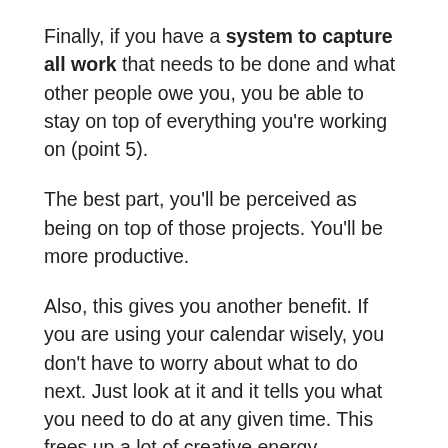Finally, if you have a system to capture all work that needs to be done and what other people owe you, you be able to stay on top of everything you're working on (point 5).
The best part, you'll be perceived as being on top of those projects. You'll be more productive.
Also, this gives you another benefit. If you are using your calendar wisely, you don't have to worry about what to do next. Just look at it and it tells you what you need to do at any given time. This frees up a lot of creative energy.